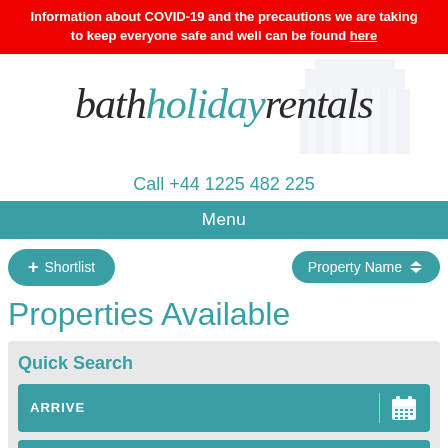Information about COVID-19 and the precautions we are taking to keep everyone safe and well can be found here
[Figure (logo): Bath Holiday Rentals logo with building silhouette watermark in the background]
Call +44 1225 482 225
Menu
+ Shortlist
Property Name
Properties Available
Quick Search
ARRIVE
CHECK OUT